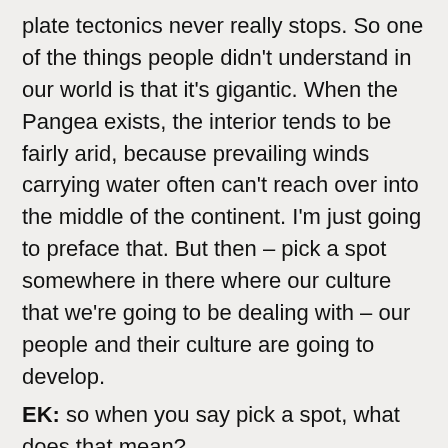plate tectonics never really stops. So one of the things people didn't understand in our world is that it's gigantic. When the Pangea exists, the interior tends to be fairly arid, because prevailing winds carrying water often can't reach over into the middle of the continent. I'm just going to preface that. But then – pick a spot somewhere in there where our culture that we're going to be dealing with – our people and their culture are going to develop.
EK: so when you say pick a spot, what does that mean?
NKJ: middle, coast, by a river. Give me an idea of where you want to put this.
EK: certainly not on the coast
NKJ: not on coast? Ok.
EK: Far enough that resourcing and water and so on are not impossible but are not naturally advantageous. I don't want to be too deep in the interior, from what you said about the aridness there, you just might not want to be in that interior.